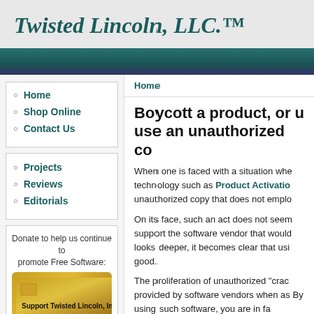Twisted Lincoln, LLC.™
Home
Shop Online
Contact Us
Projects
Reviews
Editorials
Donate to help us continue to promote Free Software:
[Figure (other): Support Twisted Lincoln, Inc.™ gold credit card donation button]
Home
Boycott a product, or use an unauthorized co
When one is faced with a situation whe technology such as Product Activatio unauthorized copy that does not emplo
On its face, such an act does not seem support the software vendor that would looks deeper, it becomes clear that usi good.
The proliferation of unauthorized "crack provided by software vendors when as By using such software, you are in fa